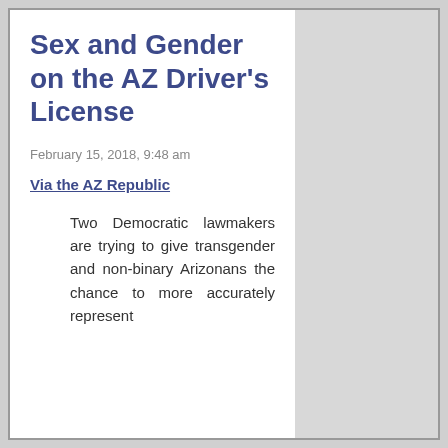Sex and Gender on the AZ Driver's License
February 15, 2018, 9:48 am
Via the AZ Republic
Two Democratic lawmakers are trying to give transgender and non-binary Arizonans the chance to more accurately represent